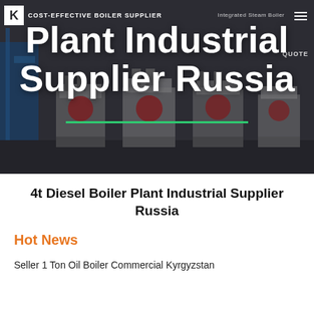[Figure (photo): Hero banner showing industrial boiler plant equipment with dark overlay background and large white text title]
4t Diesel Boiler Plant Industrial Supplier Russia
Hot News
Seller 1 Ton Oil Boiler Commercial Kyrgyzstan